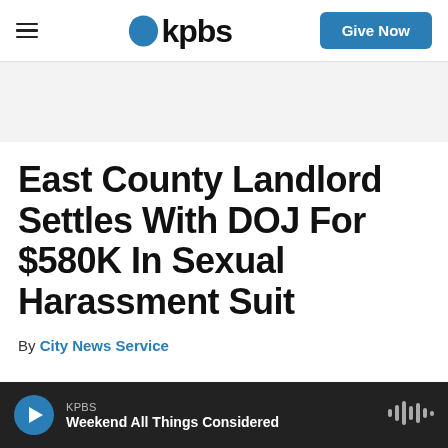KPBS — Give Now
[Figure (other): Grey advertisement/placeholder banner]
East County Landlord Settles With DOJ For $580K In Sexual Harassment Suit
By City News Service
KPBS — Weekend All Things Considered